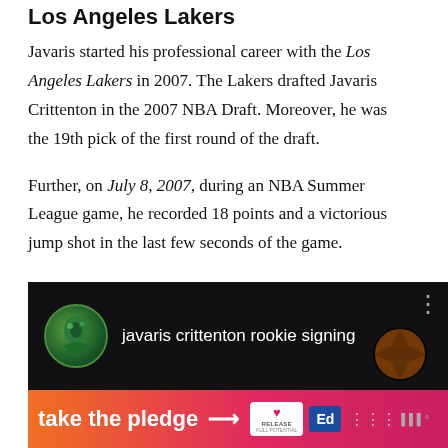Los Angeles Lakers
Javaris started his professional career with the Los Angeles Lakers in 2007. The Lakers drafted Javaris Crittenton in the 2007 NBA Draft. Moreover, he was the 19th pick of the first round of the draft.
Further, on July 8, 2007, during an NBA Summer League game, he recorded 18 points and a victorious jump shot in the last few seconds of the game.
[Figure (screenshot): Video thumbnail showing 'javaris crittenton rookie signing' with a Lakers-themed background and avatar icon]
[Figure (screenshot): Orange/pink advertisement banner reading 'take the pledge' with an arrow and Release/Ed logos]